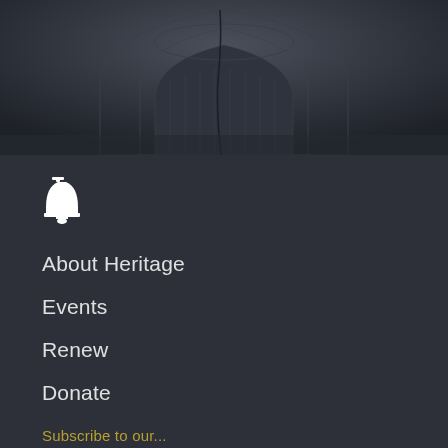[Figure (photo): Dark photograph of a government building dome (Capitol building) partially visible at the top of the page]
[Figure (logo): Heritage Foundation liberty bell icon in white]
About Heritage
Events
Renew
Donate
Press
Contact
Subscribe to our...